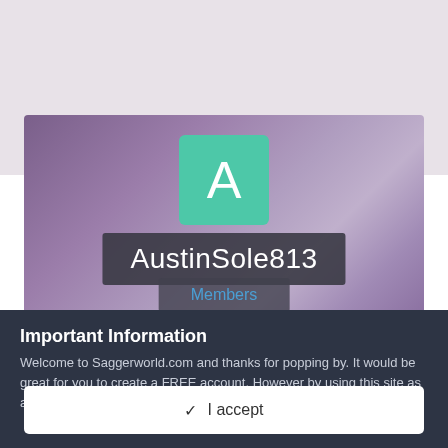[Figure (screenshot): User profile banner with geometric polygon background in purple/mauve tones, a teal square avatar with letter A, username 'AustinSole813' on dark background bar, and 'Members' link on dark bar below.]
Important Information
Welcome to Saggerworld.com and thanks for popping by. It would be great for you to create a FREE account, However by using this site as a guest, you must still agree to our Terms of Use.
✓  I accept